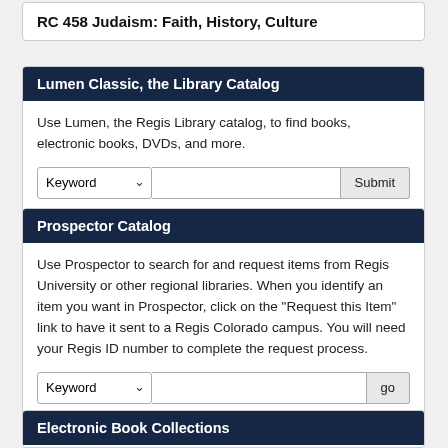RC 458 Judaism: Faith, History, Culture
Lumen Classic, the Library Catalog
Use Lumen, the Regis Library catalog, to find books, electronic books, DVDs, and more.
Prospector Catalog
Use Prospector to search for and request items from Regis University or other regional libraries. When you identify an item you want in Prospector, click on the "Request this Item" link to have it sent to a Regis Colorado campus. You will need your Regis ID number to complete the request process.
Electronic Book Collections